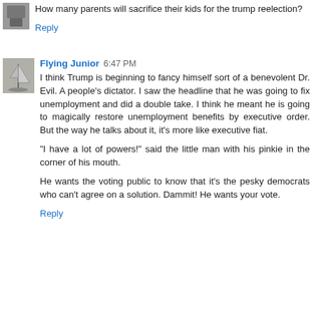How many parents will sacrifice their kids for the trump reelection?
Reply
Flying Junior  6:47 PM
I think Trump is beginning to fancy himself sort of a benevolent Dr. Evil. A people's dictator. I saw the headline that he was going to fix unemployment and did a double take. I think he meant he is going to magically restore unemployment benefits by executive order. But the way he talks about it, it's more like executive fiat.

"I have a lot of powers!" said the little man with his pinkie in the corner of his mouth.

He wants the voting public to know that it's the pesky democrats who can't agree on a solution. Dammit! He wants your vote.
Reply